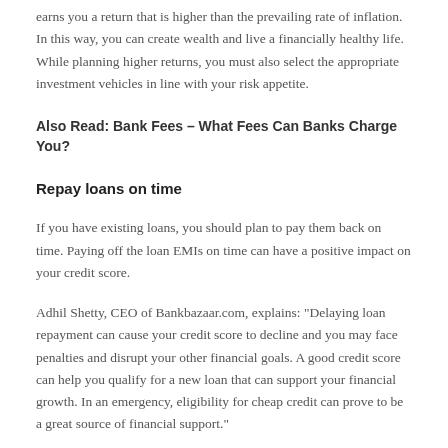earns you a return that is higher than the prevailing rate of inflation. In this way, you can create wealth and live a financially healthy life. While planning higher returns, you must also select the appropriate investment vehicles in line with your risk appetite.
Also Read: Bank Fees – What Fees Can Banks Charge You?
Repay loans on time
If you have existing loans, you should plan to pay them back on time. Paying off the loan EMIs on time can have a positive impact on your credit score.
Adhil Shetty, CEO of Bankbazaar.com, explains: "Delaying loan repayment can cause your credit score to decline and you may face penalties and disrupt your other financial goals. A good credit score can help you qualify for a new loan that can support your financial growth. In an emergency, eligibility for cheap credit can prove to be a great source of financial support."
Stick to your financial goals